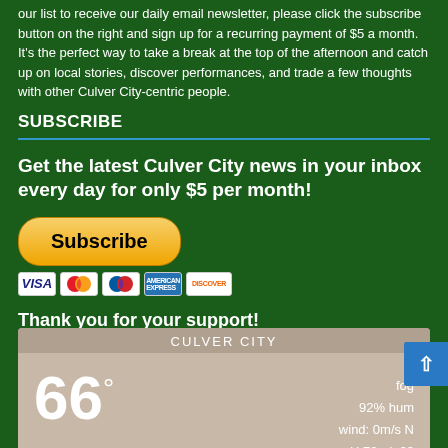our list to receive our daily email newsletter, please click the subscribe button on the right and sign up for a recurring payment of $5 a month. It's the perfect way to take a break at the top of the afternoon and catch up on local stories, discover performances, and trade a few thoughts with other Culver City-centric people.
SUBSCRIBE
Get the latest Culver City news in your inbox every day for only $5 per month!
[Figure (other): PayPal Subscribe button with VISA, Mastercard, Maestro, American Express, and Discover card icons below]
Thank you for your support!
[Figure (infographic): Weather widget showing Culver City weather: 66 degrees, fog, 92% humidity, wind: 0m/s N, H 72 • L 63]